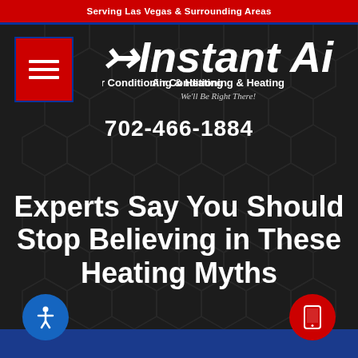Serving Las Vegas & Surrounding Areas
[Figure (logo): Instant Air logo with speed lines, Air Conditioning & Heating, tagline We'll Be Right There!]
702-466-1884
Experts Say You Should Stop Believing in These Heating Myths